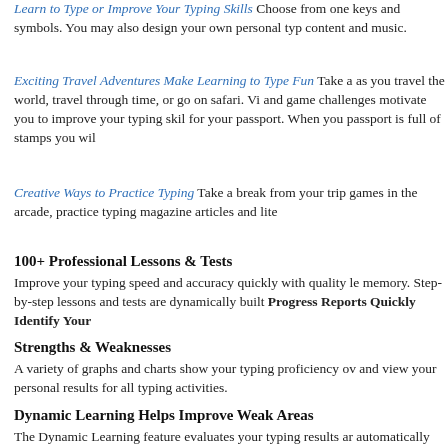Learn to Type or Improve Your Typing Skills Choose from one keys and symbols. You may also design your own personal typ content and music.
Exciting Travel Adventures Make Learning to Type Fun Take a as you travel the world, travel through time, or go on safari. Vi and game challenges motivate you to improve your typing skil for your passport. When you passport is full of stamps you wil
Creative Ways to Practice Typing Take a break from your trip games in the arcade, practice typing magazine articles and lite
100+ Professional Lessons & Tests
Improve your typing speed and accuracy quickly with quality le memory. Step-by-step lessons and tests are dynamically built
Progress Reports Quickly Identify Your
Strengths & Weaknesses
A variety of graphs and charts show your typing proficiency ov and view your personal results for all typing activities.
Dynamic Learning Helps Improve Weak Areas
The Dynamic Learning feature evaluates your typing results ar automatically creates specific lessons for you to improve your